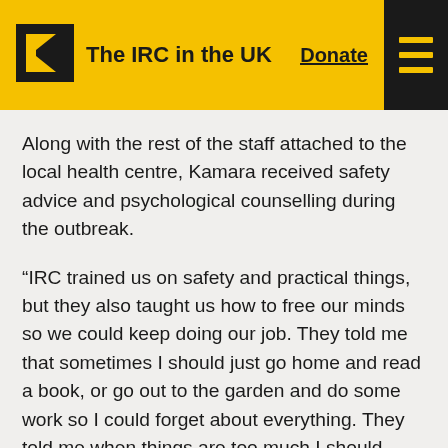The IRC in the UK   Donate
Along with the rest of the staff attached to the local health centre, Kamara received safety advice and psychological counselling during the outbreak.
“IRC trained us on safety and practical things, but they also taught us how to free our minds so we could keep doing our job. They told me that sometimes I should just go home and read a book, or go out to the garden and do some work so I could forget about everything. They told me when things are too much I should gather my children and we should tell stories together.”
After Ebola finally subsided, both men turned their focus to rebuilding and preparing the community to deal with